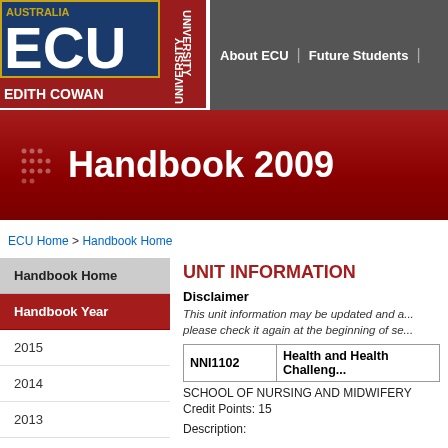[Figure (logo): Edith Cowan University (ECU) logo with blue and gold crest, red stripe, text 'AUSTRALIA', 'ECU', 'EDITH COWAN', 'UNIVERSITY']
About ECU | Future Students
Handbook 2009
ECU Home > Handbook Home
Handbook Home
Handbook Year
2015
2014
2013
2012
UNIT INFORMATION
Disclaimer
This unit information may be updated and a... please check it again at the beginning of se...
| NNI1102 | Health and Health Challen... |
| --- | --- |
SCHOOL OF NURSING AND MIDWIFERY
Credit Points: 15
Description: